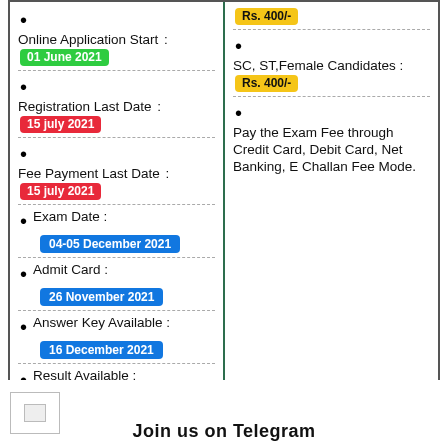Online Application Start : 01 June 2021
Registration Last Date : 15 july 2021
Fee Payment Last Date : 15 july 2021
Exam Date : 04-05 December 2021
Admit Card : 26 November 2021
Answer Key Available : 16 December 2021
Result Available : 02 April 2022
Rs. 400/-
SC, ST,Female Candidates : Rs. 400/-
Pay the Exam Fee through Credit Card, Debit Card, Net Banking, E Challan Fee Mode.
[Figure (logo): Small logo/image placeholder in bottom left]
Join us on Telegram